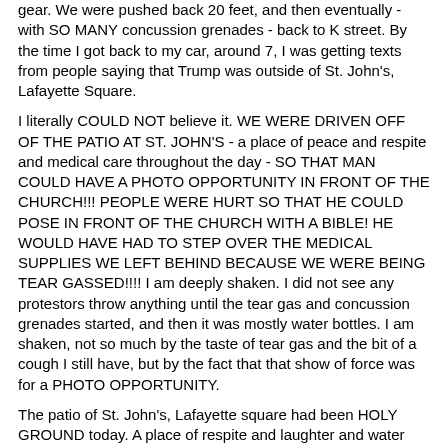gear. We were pushed back 20 feet, and then eventually - with SO MANY concussion grenades - back to K street. By the time I got back to my car, around 7, I was getting texts from people saying that Trump was outside of St. John's, Lafayette Square.
I literally COULD NOT believe it. WE WERE DRIVEN OFF OF THE PATIO AT ST. JOHN'S - a place of peace and respite and medical care throughout the day - SO THAT MAN COULD HAVE A PHOTO OPPORTUNITY IN FRONT OF THE CHURCH!!! PEOPLE WERE HURT SO THAT HE COULD POSE IN FRONT OF THE CHURCH WITH A BIBLE! HE WOULD HAVE HAD TO STEP OVER THE MEDICAL SUPPLIES WE LEFT BEHIND BECAUSE WE WERE BEING TEAR GASSED!!!! I am deeply shaken. I did not see any protestors throw anything until the tear gas and concussion grenades started, and then it was mostly water bottles. I am shaken, not so much by the taste of tear gas and the bit of a cough I still have, but by the fact that that show of force was for a PHOTO OPPORTUNITY.
The patio of St. John's, Lafayette square had been HOLY GROUND today. A place of respite and laughter and water and granola bars and fruit snacks. But that man turned it into a BATTLE GROUND first, and a cheap political stunt second. I am DEEPLY OFFENDED on behalf of every protestor, every